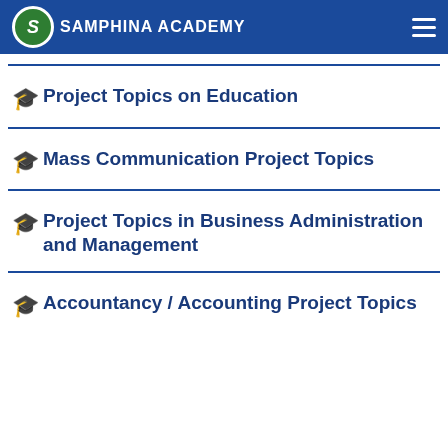Samphina Academy — Business Project Topics
🎓 Project Topics on Education
🎓 Mass Communication Project Topics
🎓 Project Topics in Business Administration and Management
🎓 Accountancy / Accounting Project Topics